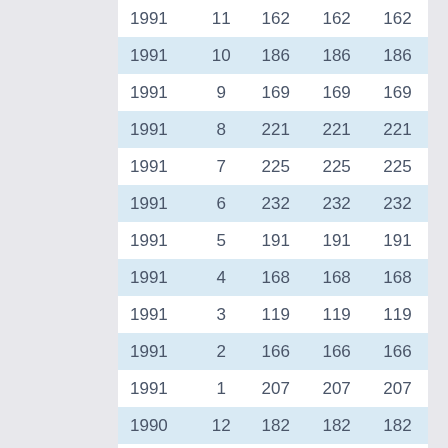| 1991 | 11 | 162 | 162 | 162 |
| 1991 | 10 | 186 | 186 | 186 |
| 1991 | 9 | 169 | 169 | 169 |
| 1991 | 8 | 221 | 221 | 221 |
| 1991 | 7 | 225 | 225 | 225 |
| 1991 | 6 | 232 | 232 | 232 |
| 1991 | 5 | 191 | 191 | 191 |
| 1991 | 4 | 168 | 168 | 168 |
| 1991 | 3 | 119 | 119 | 119 |
| 1991 | 2 | 166 | 166 | 166 |
| 1991 | 1 | 207 | 207 | 207 |
| 1990 | 12 | 182 | 182 | 182 |